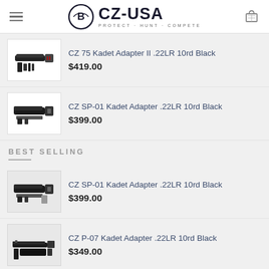CZ-USA PROTECT · HUNT · COMPETE
[Figure (photo): Product thumbnail: CZ 75 Kadet Adapter II .22LR 10rd Black - black adapter kit components on white background]
CZ 75 Kadet Adapter II .22LR 10rd Black
$419.00
[Figure (photo): Product thumbnail: CZ SP-01 Kadet Adapter .22LR 10rd Black - black adapter components on white background]
CZ SP-01 Kadet Adapter .22LR 10rd Black
$399.00
BEST SELLING
[Figure (photo): Product thumbnail: CZ SP-01 Kadet Adapter .22LR 10rd Black - black adapter components on gray background]
CZ SP-01 Kadet Adapter .22LR 10rd Black
$399.00
[Figure (photo): Product thumbnail: CZ P-07 Kadet Adapter .22LR 10rd Black - black adapter components on gray background]
CZ P-07 Kadet Adapter .22LR 10rd Black
$349.00